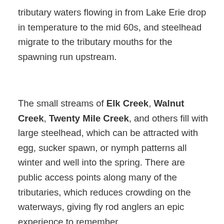tributary waters flowing in from Lake Erie drop in temperature to the mid 60s, and steelhead migrate to the tributary mouths for the spawning run upstream.
The small streams of Elk Creek, Walnut Creek, Twenty Mile Creek, and others fill with large steelhead, which can be attracted with egg, sucker spawn, or nymph patterns all winter and well into the spring. There are public access points along many of the tributaries, which reduces crowding on the waterways, giving fly rod anglers an epic experience to remember.
[Figure (other): Advertisement banner showing 'MEET SAMMY.' text with a golden retriever dog image and a close button]